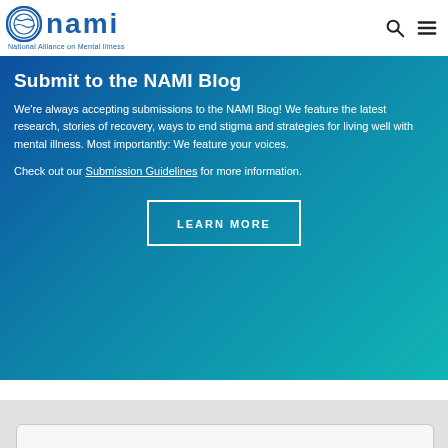NAMI — National Alliance on Mental Illness
Submit to the NAMI Blog
We're always accepting submissions to the NAMI Blog! We feature the latest research, stories of recovery, ways to end stigma and strategies for living well with mental illness. Most importantly: We feature your voices.
Check out our Submission Guidelines for more information.
LEARN MORE